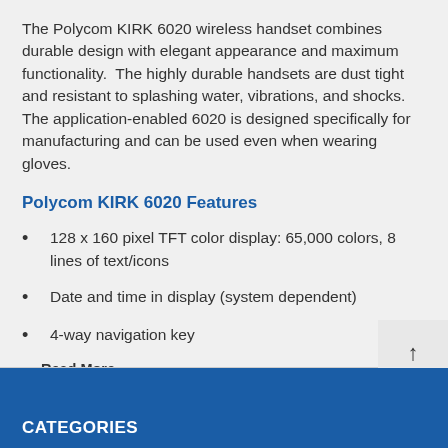The Polycom KIRK 6020 wireless handset combines durable design with elegant appearance and maximum functionality.  The highly durable handsets are dust tight and resistant to splashing water, vibrations, and shocks. The application-enabled 6020 is designed specifically for manufacturing and can be used even when wearing gloves.
Polycom KIRK 6020 Features
128 x 160 pixel TFT color display: 65,000 colors, 8 lines of text/icons
Date and time in display (system dependent)
4-way navigation key
▼ Read More...
CATEGORIES